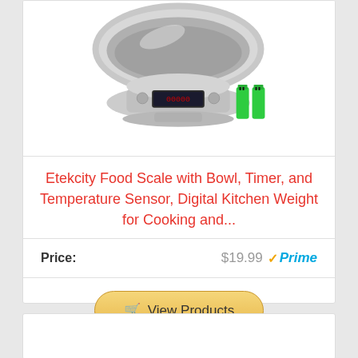[Figure (photo): Etekcity digital kitchen food scale with stainless steel bowl and two AA batteries shown next to it]
Etekcity Food Scale with Bowl, Timer, and Temperature Sensor, Digital Kitchen Weight for Cooking and...
Price: $19.99 ✓Prime
[Figure (other): View Products button with shopping cart icon]